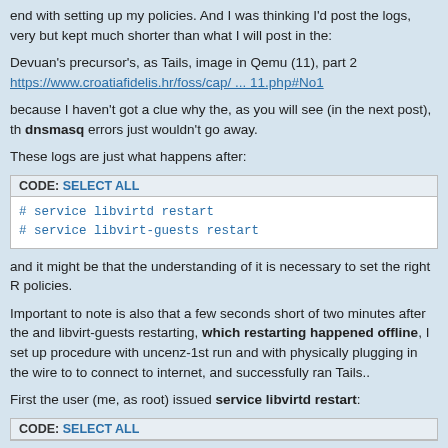end with setting up my policies. And I was thinking I'd post the logs, very but kept much shorter than what I will post in the:
Devuan's precursor's, as Tails, image in Qemu (11), part 2
https://www.croatiafidelis.hr/foss/cap/ ... 11.php#No1
because I haven't got a clue why the, as you will see (in the next post), th dnsmasq errors just wouldn't go away.
These logs are just what happens after:
CODE: SELECT ALL
# service libvirtd restart
# service libvirt-guests restart
and it might be that the understanding of it is necessary to set the right R policies.
Important to note is also that a few seconds short of two minutes after the and libvirt-guests restarting, which restarting happened offline, I set up procedure with uncenz-1st run and with physically plugging in the wire to to connect to internet, and successfully ran Tails..
First the user (me, as root) issued service libvirtd restart:
CODE: SELECT ALL